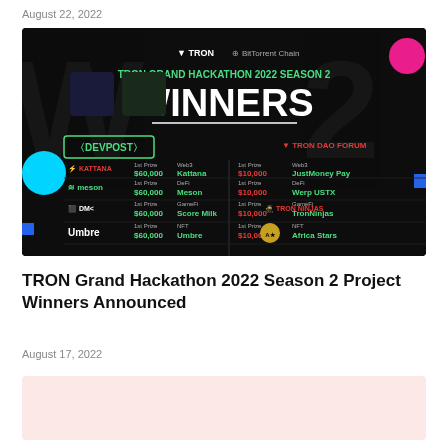August 22, 2022
[Figure (infographic): TRON Grand Hackathon 2022 Season 2 Winners announcement banner on dark background, showing TRON and BitTorrentChain logos, 'WINNERS' heading, with DEVPOST and TRON DAO FORUM sections listing 1st Prize winners: Kattana ($60,000, Web3), Meson ($60,000, DeFi), Score Milk ($60,000, GameFi), Umbre ($60,000, NFT) on left; JustMoney Pay ($10,000, Web3), Werp USTX ($10,000, DeFi), TronNinjas ($10,000, GameFi), Africa Stars ($10,000, NFT) on right.]
TRON Grand Hackathon 2022 Season 2 Project Winners Announced
August 17, 2022